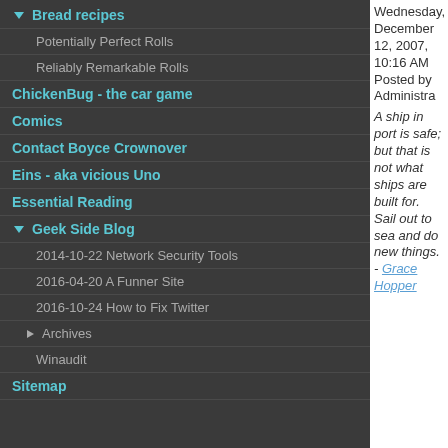▼ Bread recipes
Potentially Perfect Rolls
Reliably Remarkable Rolls
ChickenBug - the car game
Comics
Contact Boyce Crownover
Eins - aka vicious Uno
Essential Reading
▼ Geek Side Blog
2014-10-22 Network Security Tools
2016-04-20 A Funner Site
2016-10-24 How to Fix Twitter
► Archives
Winaudit
Sitemap
Wednesday, December 12, 2007, 10:16 AM Posted by Administrator
A ship in port is safe; but that is not what ships are built for. Sail out to sea and do new things. - Grace Hopper